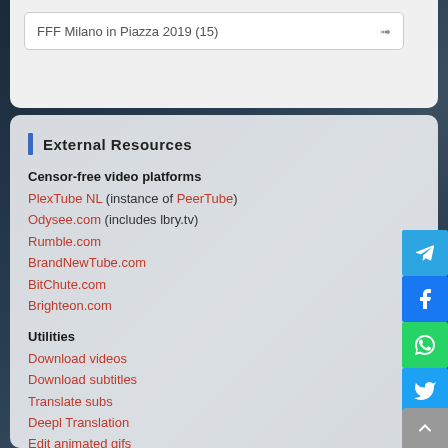FFF Milano in Piazza 2019  (15)
External Resources
Censor-free video platforms
PlexTube NL (instance of PeerTube)
Odysee.com (includes lbry.tv)
Rumble.com
BrandNewTube.com
BitChute.com
Brighteon.com
Utilities
Download videos
Download subtitles
Translate subs
Deepl Translation
Edit animated gifs
Compress videos online